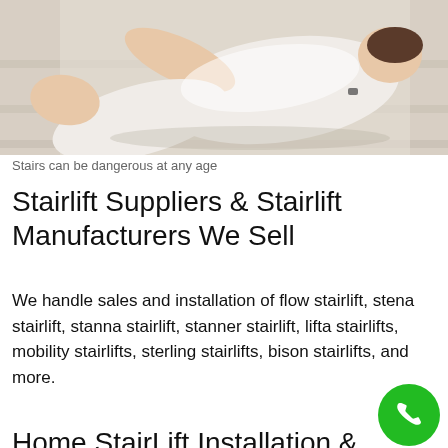[Figure (photo): A person in white clothing lying on stairs, viewed from above, suggesting a fall or danger on stairs.]
Stairs can be dangerous at any age
Stairlift Suppliers & Stairlift Manufacturers We Sell
We handle sales and installation of flow stairlift, stena stairlift, stanna stairlift, stanner stairlift, lifta stairlifts, mobility stairlifts, sterling stairlifts, bison stairlifts, and more.
Home StairLift Installation & Maintenance in Chester
Both new and used stair lifts in West Virginia can